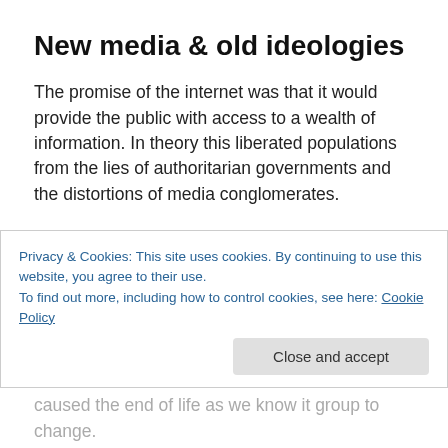New media & old ideologies
The promise of the internet was that it would provide the public with access to a wealth of information. In theory this liberated populations from the lies of authoritarian governments and the distortions of media conglomerates.
In practice the internet fails to solve the age old problem of what you do when the public actually wants to be lied to. Rather than being consistently cynical &/or skeptical to all
Privacy & Cookies: This site uses cookies. By continuing to use this website, you agree to their use.
To find out more, including how to control cookies, see here: Cookie Policy
...to age out to subscribe other atrocities. You caused the end of life as we know it group to change.